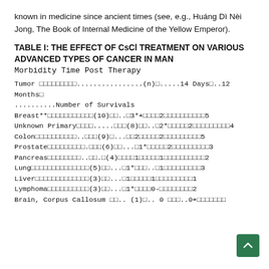known in medicine since ancient times (see, e.g., Huáng Dì Nèi Jong, The Book of Internal Medicine of the Yellow Emperor).
TABLE I: THE EFFECT OF CsCl TREATMENT ON VARIOUS ADVANCED TYPES OF CANCER IN MAN
Morbidity Time Post Therapy
| Tumor | (n) | 14 Days | 12 Months | Number of Survivals |
| --- | --- | --- | --- | --- |
| Breast** | (10) | 3*+ | 2 | 5 |
| Unknown Primary | (8) | 2* | 2 | 4 |
| Colon | (9) | 2 | 2 | 5 |
| Prostate | (6) | 1* | 2 | 3 |
| Pancreas | (4) | 1 | 1 | 2 |
| Lung | (5) | 1* | 1 | 3 |
| Liver | (3) | 1 | 1 | 1 |
| Lymphoma | (3) | 1* | 0- | 2 |
| Brain, Corpus Callosum | (1) | 0 | 0+ |  |